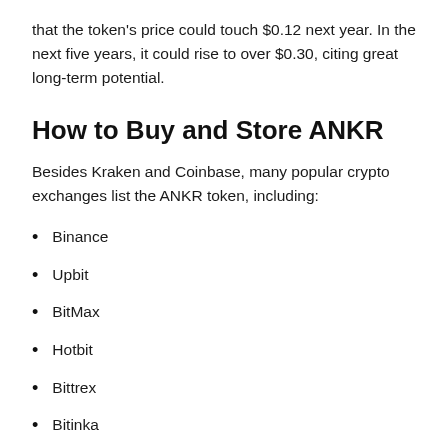that the token's price could touch $0.12 next year. In the next five years, it could rise to over $0.30, citing great long-term potential.
How to Buy and Store ANKR
Besides Kraken and Coinbase, many popular crypto exchanges list the ANKR token, including:
Binance
Upbit
BitMax
Hotbit
Bittrex
Bitinka